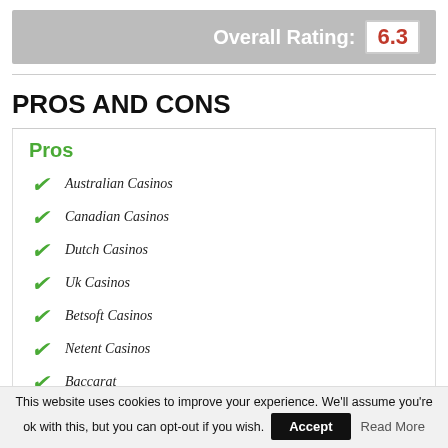Overall Rating: 6.3
PROS AND CONS
Pros
Australian Casinos
Canadian Casinos
Dutch Casinos
Uk Casinos
Betsoft Casinos
Netent Casinos
Baccarat
This website uses cookies to improve your experience. We'll assume you're ok with this, but you can opt-out if you wish. Accept Read More